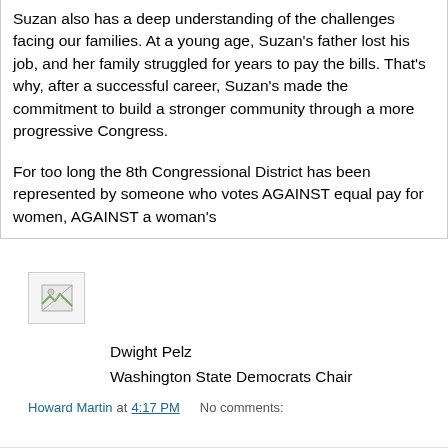Suzan also has a deep understanding of the challenges facing our families. At a young age, Suzan's father lost his job, and her family struggled for years to pay the bills. That's why, after a successful career, Suzan's made the commitment to build a stronger community through a more progressive Congress.

For too long the 8th Congressional District has been represented by someone who votes AGAINST equal pay for women, AGAINST a woman's
[Figure (photo): Broken/missing image placeholder icon]
Dwight Pelz
Washington State Democrats Chair
Howard Martin at 4:17 PM   No comments:
Share